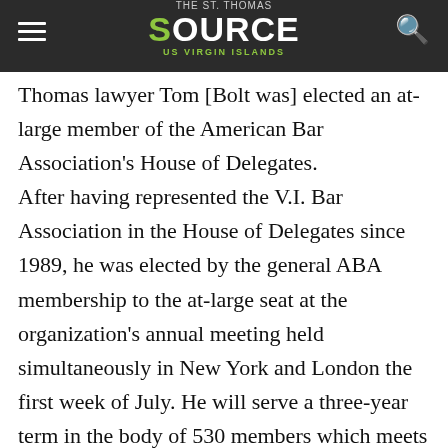The St. Thomas Source — US Virgin Islands
St. Thomas lawyer Tom [Bolt] was elected an at-large member of the American Bar Association's House of Delegates. After having represented the V.I. Bar Association in the House of Delegates since 1989, he was elected by the general ABA membership to the at-large seat at the organization's annual meeting held simultaneously in New York and London the first week of July. He will serve a three-year term in the body of 530 members which meets twice a year. This is "the first time a Virgin Islander has been elected by the general membership to national office" in the organization, according to a release from the 400,000-member ABA. Bolt formed the law firm Tom Bolt & Associates in 1991, specializing in banking, commercial, light industrial and service sector law. He said he expects in his new position to